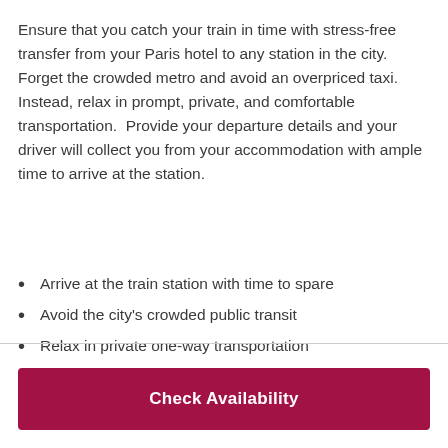Ensure that you catch your train in time with stress-free transfer from your Paris hotel to any station in the city. Forget the crowded metro and avoid an overpriced taxi. Instead, relax in prompt, private, and comfortable transportation.  Provide your departure details and your driver will collect you from your accommodation with ample time to arrive at the station.
Arrive at the train station with time to spare
Avoid the city's crowded public transit
Relax in private one-way transportation
Enjoy complimentary bottled water
Check Availability